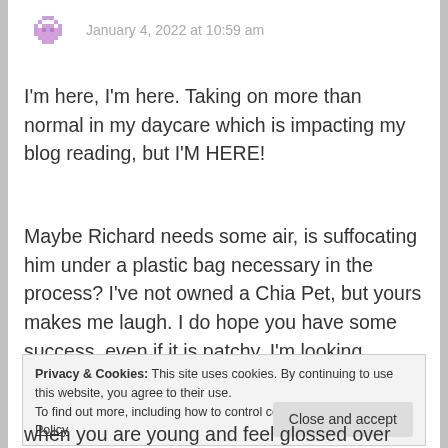[Figure (illustration): Small purple/pink pixelated avatar icon in top left]
January 4, 2022 at 10:59 am
I'm here, I'm here. Taking on more than normal in my daycare which is impacting my blog reading, but I'M HERE!
Maybe Richard needs some air, is suffocating him under a plastic bag necessary in the process? I've not owned a Chia Pet, but yours makes me laugh. I do hope you have some success, even if it is patchy. I'm looking forward to the updates.
Privacy & Cookies: This site uses cookies. By continuing to use this website, you agree to their use.
To find out more, including how to control cookies, see here: Cookie Policy
when you are young and feel glossed over